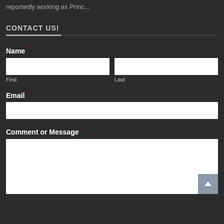reportedly working as Princ...
CONTACT US!
Name *
First
Last
Email *
Comment or Message *